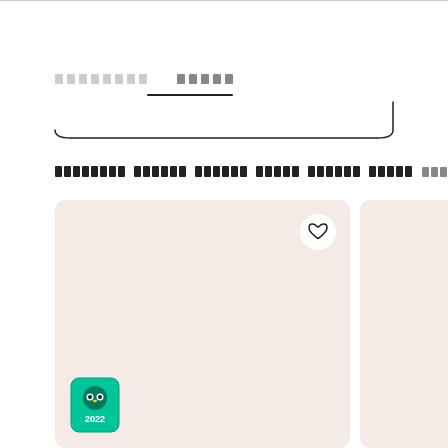████████  █████
[Figure (screenshot): Curved bottom navigation bar UI element]
███████████████████████████████████████████████████████████████████████████
[Figure (screenshot): Two photo cards side by side with a heart/favorite button on the left card and a TripAdvisor 2022 badge in the bottom left corner]